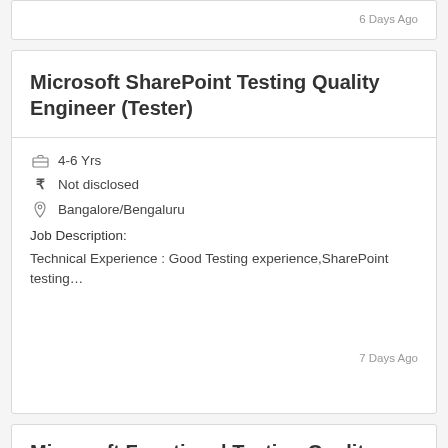6 Days Ago
Microsoft SharePoint Testing Quality Engineer (Tester)
4-6 Yrs
Not disclosed
Bangalore/Bengaluru
Job Description:
Technical Experience : Good Testing experience,SharePoint testing…
7 Days Ago
Microsoft Functional Testing Quality